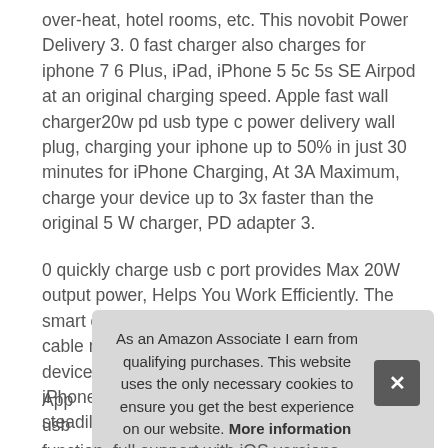over-heat, hotel rooms, etc. This novobit Power Delivery 3. 0 fast charger also charges for iphone 7 6 Plus, iPad, iPhone 5 5c 5s SE Airpod at an original charging speed. Apple fast wall charger20w pd usb type c power delivery wall plug, charging your iphone up to 50% in just 30 minutes for iPhone Charging, At 3A Maximum, charge your device up to 3x faster than the original 5 W charger, PD adapter 3.
0 quickly charge usb c port provides Max 20W output power, Helps You Work Efficiently. The smart chip including the mfi certified lightning cable match the current required by the Apple device automatically, safely, charges your iPhone/iPad device fast, over-charge, and steadily.
As an Amazon Associate I earn from qualifying purchases. This website uses the only necessary cookies to ensure you get the best experience on our website. More information
App usb function, full support with iOS versions